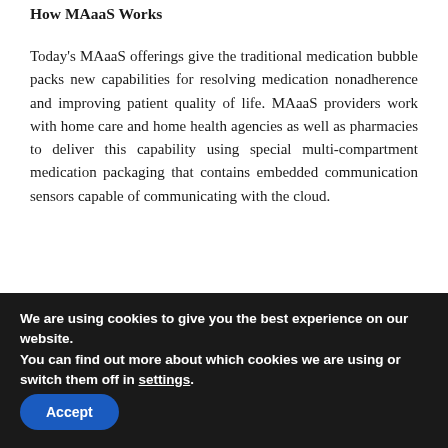How MAaaS Works
Today's MAaaS offerings give the traditional medication bubble packs new capabilities for resolving medication nonadherence and improving patient quality of life. MAaaS providers work with home care and home health agencies as well as pharmacies to deliver this capability using special multi-compartment medication packaging that contains embedded communication sensors capable of communicating with the cloud.
The process begins with the pharmacist, who dispenses the medications in these sensor-based, smart blister packs and then delivers the packs to patients' homes. As
We are using cookies to give you the best experience on our website.
You can find out more about which cookies we are using or switch them off in settings.